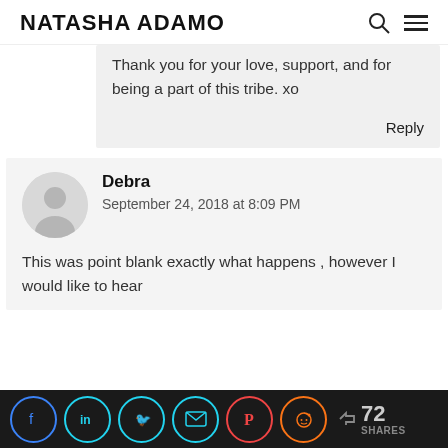NATASHA ADAMO
Thank you for your love, support, and for being a part of this tribe. xo
Reply
Debra
September 24, 2018 at 8:09 PM

This was point blank exactly what happens , however I would like to hear
72 SHARES